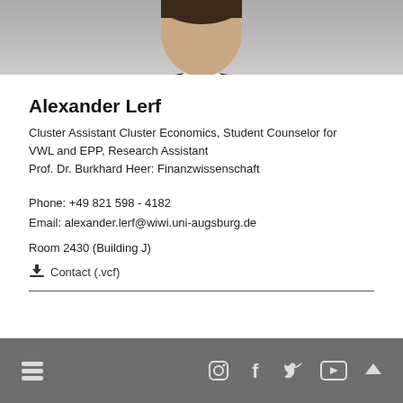[Figure (photo): Portrait photo of Alexander Lerf, partially cropped, showing head and shoulders in formal attire]
Alexander Lerf
Cluster Assistant Cluster Economics, Student Counselor for VWL and EPP, Research Assistant
Prof. Dr. Burkhard Heer: Finanzwissenschaft
Phone: +49 821 598 - 4182
Email: alexander.lerf@wiwi.uni-augsburg.de
Room 2430 (Building J)
⬇ Contact (.vcf)
Footer with social media icons: Instagram, Facebook, Twitter, YouTube, and scroll-to-top arrow